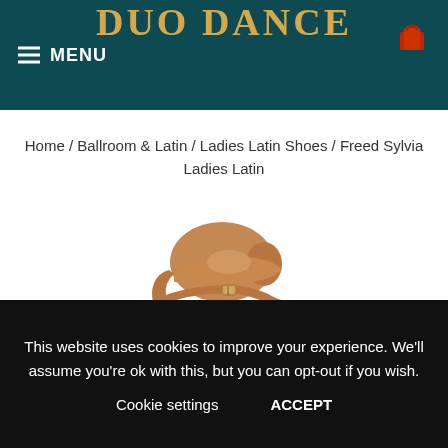☰ MENU  DUO DANCE
Home / Ballroom & Latin / Ladies Latin Shoes / Freed Sylvia Ladies Latin
[Figure (photo): A tan/brown satin Latin dance shoe with ankle strap and high heel, photographed against a white background.]
This website uses cookies to improve your experience. We'll assume you're ok with this, but you can opt-out if you wish.
Cookie settings   ACCEPT